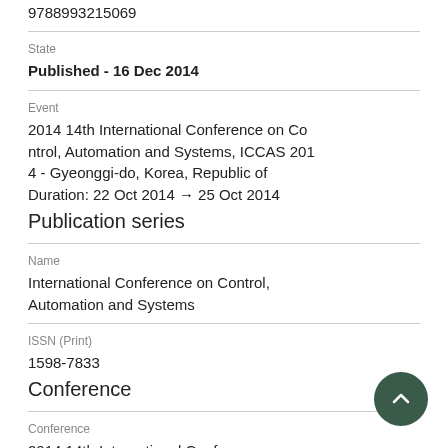9788993215069
State
Published - 16 Dec 2014
Event
2014 14th International Conference on Control, Automation and Systems, ICCAS 2014 - Gyeonggi-do, Korea, Republic of
Duration: 22 Oct 2014 → 25 Oct 2014
Publication series
Name
International Conference on Control, Automation and Systems
ISSN (Print)
1598-7833
Conference
Conference
2014 14th International Conference on